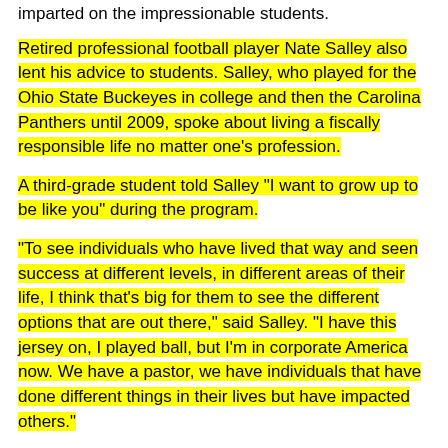imparted on the impressionable students.
Retired professional football player Nate Salley also lent his advice to students. Salley, who played for the Ohio State Buckeyes in college and then the Carolina Panthers until 2009, spoke about living a fiscally responsible life no matter one's profession.
A third-grade student told Salley "I want to grow up to be like you" during the program.
“To see individuals who have lived that way and seen success at different levels, in different areas of their life, I think that’s big for them to see the different options that are out there,” said Salley. “I have this jersey on, I played ball, but I’m in corporate America now. We have a pastor, we have individuals that have done different things in their lives but have impacted others.”
A Junior Achievement Day was also held last spring at Sadler Elementary School in Gastonia.
Junior Achievement will provide training for more volunteers to